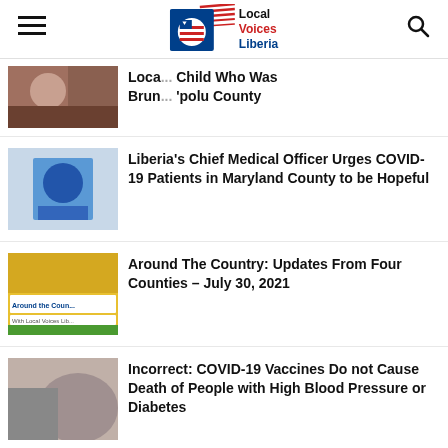Local Voices Liberia
Loca... Child Who Was Brun... 'polu County
Liberia's Chief Medical Officer Urges COVID-19 Patients in Maryland County to be Hopeful
Around The Country: Updates From Four Counties – July 30, 2021
Incorrect: COVID-19 Vaccines Do not Cause Death of People with High Blood Pressure or Diabetes
Around The Country: Updates From Six